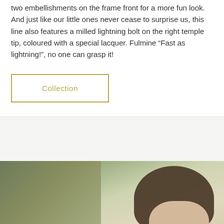two embellishments on the frame front for a more fun look. And just like our little ones never cease to surprise us, this line also features a milled lightning bolt on the right temple tip, coloured with a special lacquer. Fulmine “Fast as lightning!”, no one can grasp it!
Collection
[Figure (photo): Photo of a young man showing the top of his head and hair, outdoors with green/natural background. The image is cropped showing only the top portion of the head.]